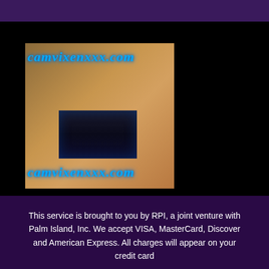[Figure (photo): Advertisement image for camvixenxxx.com showing a person with a laptop, with the website URL displayed in blue cursive text at top and bottom of the image]
This service is brought to you by RPI, a joint venture with Palm Island, Inc. We accept VISA, MasterCard, Discover and American Express. All charges will appear on your credit card